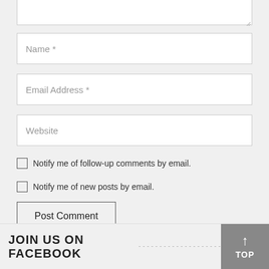[Figure (screenshot): Comment form fields: textarea (partial top), Name, Email Address, Website input fields]
Notify me of follow-up comments by email.
Notify me of new posts by email.
Post Comment
This site uses Akismet to reduce spam. Learn how your comment data is processed.
JOIN US ON FACEBOOK
↑ TOP